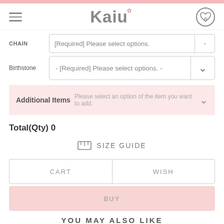Kaiu
CHAIN [Required] Please select options. -
Birthstone - [Required] Please select options. -
Additional Items Please select an option of the item you want to add.
Total(Qty) 0
SIZE GUIDE
CART
WISH
BUY
YOU MAY ALSO LIKE